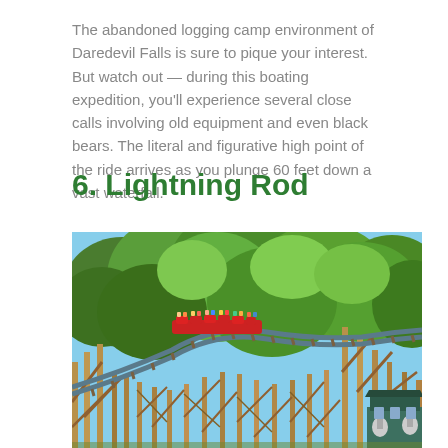The abandoned logging camp environment of Daredevil Falls is sure to pique your interest. But watch out — during this boating expedition, you'll experience several close calls involving old equipment and even black bears. The literal and figurative high point of the ride arrives as you plunge 60 feet down a vast waterfall.
6.  Lightning Rod
[Figure (photo): Photograph of Lightning Rod wooden roller coaster at Dollywood. The coaster train with riders is visible cresting a large wooden hill structure. Lush green trees fill the background under a blue sky.]